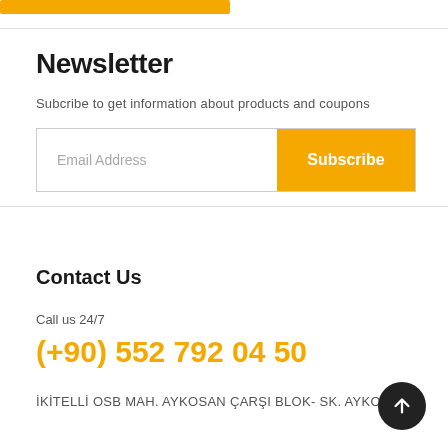[Figure (other): Yellow/orange horizontal bar at the top of the page]
Newsletter
Subcribe to get information about products and coupons
[Figure (other): Email subscription form with text field labeled 'Email Address' and a yellow 'Subscribe' button]
Contact Us
Call us 24/7
(+90) 552 792 04 50
İKİTELLİ OSB MAH. AYKOSAN ÇARŞI BLOK- SK. AYKOSAN